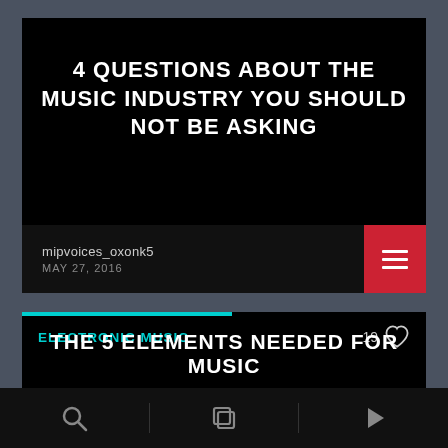4 QUESTIONS ABOUT THE MUSIC INDUSTRY YOU SHOULD NOT BE ASKING
mipvoices_oxonk5
MAY 27, 2016
ELECTRONIC MUSIC
19
THE 5 ELEMENTS NEEDED FOR MUSIC